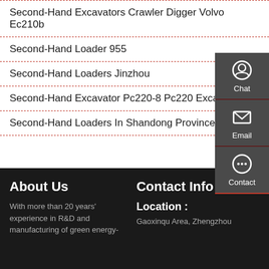Second-Hand Excavators Crawler Digger Volvo Ec210b
Second-Hand Loader 955
Second-Hand Loaders Jinzhou
Second-Hand Excavator Pc220-8 Pc220 Excavator
Second-Hand Loaders In Shandong Province
[Figure (infographic): Sidebar with Chat, Email, and Contact icons on dark grey background]
About Us
With more than 20 years' experience in R&D and manufacturing of green energy-
Contact Info
Location :
Gaoxinqu Area, Zhengzhou